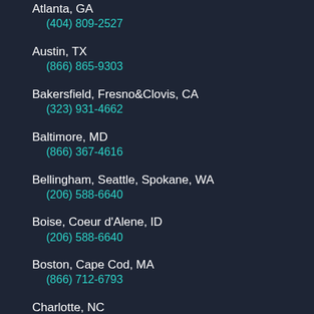Atlanta, GA
(404) 809-2527
Austin, TX
(866) 865-9303
Bakersfield, Fresno&Clovis, CA
(323) 931-4662
Baltimore, MD
(866) 367-4616
Bellingham, Seattle, Spokane, WA
(206) 588-6640
Boise, Coeur d'Alene, ID
(206) 588-6640
Boston, Cape Cod, MA
(866) 712-6793
Charlotte, NC
(919) 230-6261